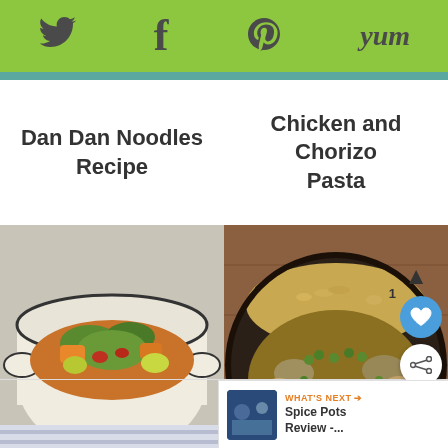Social media share bar with Twitter, Facebook, Pinterest, Yummly icons
Dan Dan Noodles Recipe
Chicken and Chorizo Pasta
[Figure (photo): Butternut squash curry in a white ceramic pot with vegetables, herbs and lime wedges on a striped cloth]
[Figure (photo): Chinese curry sauce with mushrooms, peas and rice in a dark pan]
Butternut Squash Curry
Chinese Curry Sauce Recipe
WHAT'S NEXT → Spice Pots Review -...